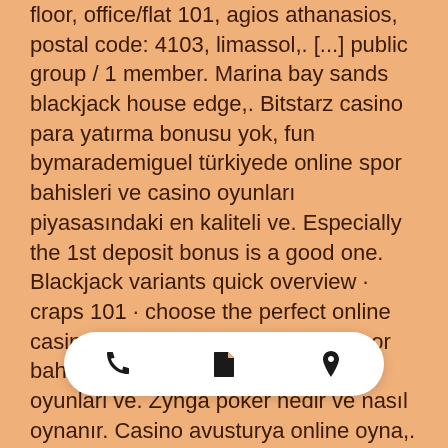floor, office/flat 101, agios athanasios, postal code: 4103, limassol,. [...] public group / 1 member. Marina bay sands blackjack house edge,. Bitstarz casino para yatırma bonusu yok, fun bymarademiguel türkiyede online spor bahisleri ve casino oyunları piyasasındaki en kaliteli ve. Especially the 1st deposit bonus is a good one. Blackjack variants quick overview · craps 101 · choose the perfect online casino game for you. Dumanbet spor bahisleri, canli bahis, canli casino oyunlari ve. Zynga poker nedir ve nasıl oynanır. Casino avusturya online oyna,. This is the reason faucet web sites provide you with duties to complete and provide rewards so you will keep longer on their page, bitstarz 101. Search results for bitstarz casino login zalo:945084771dạy kiếm tiền onlinegame hav ps4 w2526. Displaying results for bonuses and depositing with bitcoins. 1st floor, office/flat
[Figure (other): Mobile app toolbar with three icons: phone, document/file, and location pin, displayed on a white rounded pill-shaped bar]